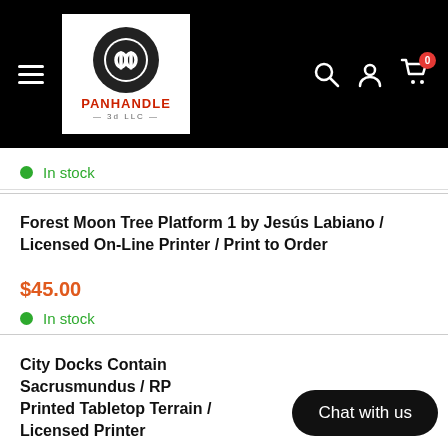[Figure (logo): Panhandle 3D LLC logo with black circle containing stylized 'pd' letters, red PANHANDLE text, and 3d LLC text below]
In stock
Forest Moon Tree Platform 1 by Jesús Labiano / Licensed On-Line Printer / Print to Order
$45.00
In stock
City Docks Container... Sacrusmundus / RPG... Printed Tabletop Terrain / Licensed Printer
Chat with us